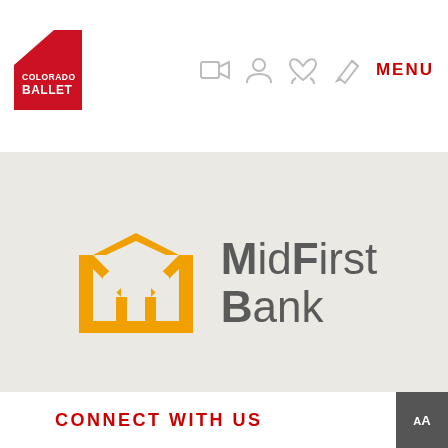[Figure (logo): Colorado Ballet logo — red square with white diagonal stripe and white text 'COLORADO BALLET']
[Figure (infographic): Navigation bar icons: video camera, user/person, heart with hands, pen/edit]
MENU
[Figure (logo): MidFirst Bank logo — orange M-shaped building icon with gray text 'MidFirst Bank']
CONNECT WITH US
[Figure (other): AA font size accessibility button in dark gray square]